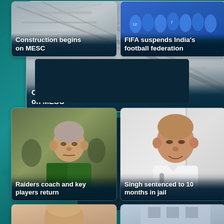[Figure (photo): News card: Construction site aerial view with text overlay 'Construction begins on MESC']
Construction begins on MESC
[Figure (photo): News card: Group of football players in blue uniforms with text overlay 'FIFA suspends India's football federation']
FIFA suspends India's football federation
[Figure (photo): Advertisement banner placeholder (dark rectangle)]
[Figure (photo): News card: Raiders coach portrait in green jacket with text overlay 'Raiders coach and key players return']
Raiders coach and key players return
[Figure (photo): News card: Man in white shirt (Singh) with text overlay 'Singh sentenced to 10 months in jail']
Singh sentenced to 10 months in jail
[Figure (photo): Partial news card at bottom left showing a person]
[Figure (photo): Partial news card at bottom right showing a building]